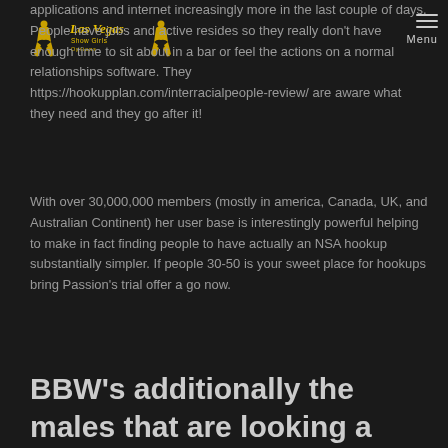Las Vegas Show Girls Options — Menu
applications and internet increasingly more in the last couple of days. People have jobs and active resides so they really don't have enough time to sit about in a bar or feel the actions on a normal relationships software. They https://hookupplan.com/interracialpeople-review/ are aware what they need and they go after it!
With over 30,000,000 members (mostly in america, Canada, UK, and Australian Continent) her user base is interestingly powerful helping to make in fact finding people to have actually an NSA hookup substantially simpler. If people 30-50 is your sweet place for hookups bring Passion's trial offer a go now.
BBW's additionally the males that are looking a